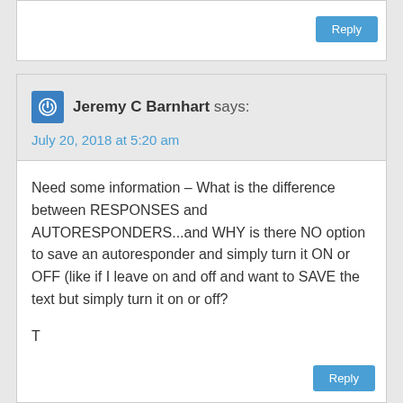Jeremy C Barnhart says:
July 20, 2018 at 5:20 am
Need some information – What is the difference between RESPONSES and AUTORESPONDERS...and WHY is there NO option to save an autoresponder and simply turn it ON or OFF (like if I leave on and off and want to SAVE the text but simply turn it on or off?

T